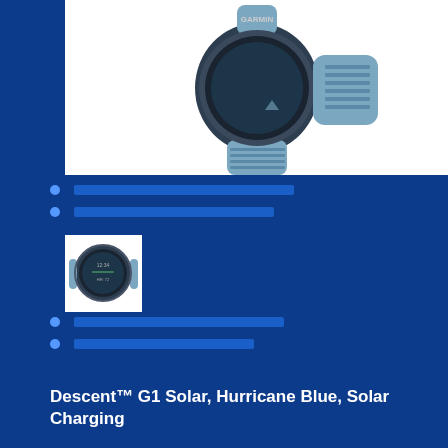[Figure (photo): Garmin Descent G1 Solar smartwatch with light blue/hurricane blue silicone band, showing the watch face and band from an angled top-down perspective on a white background]
[Figure (photo): Thumbnail image of Garmin Descent G1 Solar watch showing the front face display with the blue silicone band]
Descent™ G1 Solar, Hurricane Blue, Solar Charging